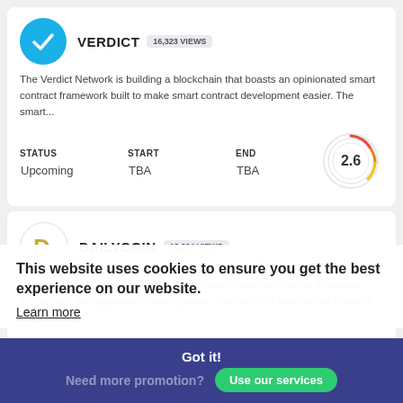VERDICT
16,323 VIEWS
The Verdict Network is building a blockchain that boasts an opinionated smart contract framework built to make smart contract development easier. The smart...
| STATUS | START | END |
| --- | --- | --- |
| Upcoming | TBA | TBA |
[Figure (other): Score dial showing 2.6 rating]
DAILYCOIN
18,824 VIEWS
DailyCoin has built a decentralized eCommerce platform, on the Ethereum Blockchain, and payment solution system. The aim is to provide that financial payment...
| STATUS | START | END |
| --- | --- | --- |
| Upcoming | TBA | TBA |
[Figure (other): Score dial showing 8 rating]
This website uses cookies to ensure you get the best experience on our website.
Learn more
Got it!
Need more promotion?
Use our services